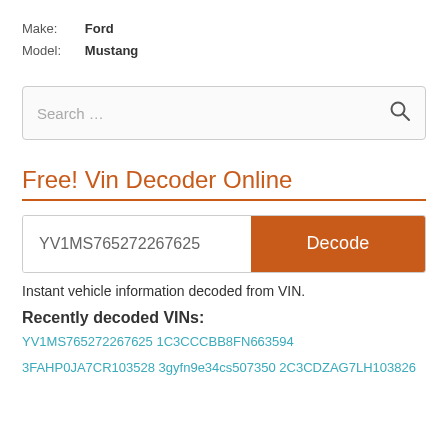Make: Ford
Model: Mustang
[Figure (screenshot): Search input box with placeholder 'Search …' and a search icon on the right]
Free! Vin Decoder Online
[Figure (screenshot): VIN input field showing 'YV1MS765272267625' with an orange 'Decode' button]
Instant vehicle information decoded from VIN.
Recently decoded VINs:
YV1MS765272267625 1C3CCCBB8FN663594
3FAHP0JA7CR103528 3gyfn9e34cs507350 2C3CDZAG7LH103826